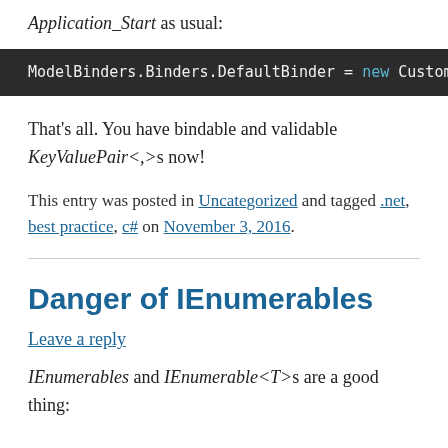Application_Start as usual:
[Figure (screenshot): Code block showing: ModelBinders.Binders.DefaultBinder = new CustomMo (truncated), with 'new' keyword highlighted in teal on dark background]
That's all. You have bindable and validable KeyValuePair<,>s now!
This entry was posted in Uncategorized and tagged .net, best practice, c# on November 3, 2016.
Danger of IEnumerables
Leave a reply
IEnumerables and IEnumerable<T>s are a good thing: